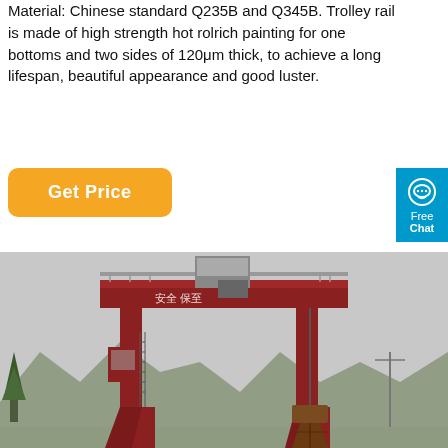Material: Chinese standard Q235B and Q345B. Trolley rail is made of high strength hot rolrich painting for one bottoms and two sides of 120μm thick, to achieve a long lifespan, beautiful appearance and good luster.
[Figure (illustration): Orange 'Get Price' button with rounded corners]
[Figure (illustration): Blue 'Free Chat' widget with chat bubble icon on the right edge]
[Figure (photo): Photograph of a large red gantry crane with a grab bucket hanging from it, taken outdoors against a grey sky with mountains and trees visible in the background. Chinese characters are visible on the crane's crossbeam.]